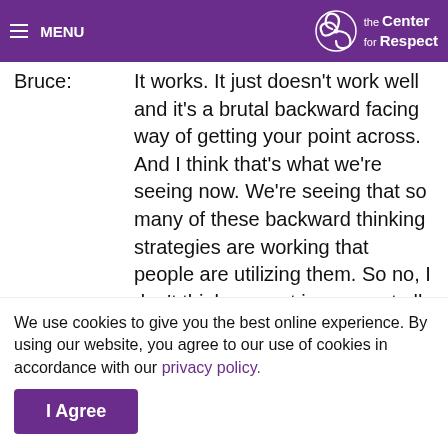MENU | the Center for Respect
say, if you don't believe me, I'm going to hit...
Bruce:   It works. It just doesn't work well and it's a brutal backward facing way of getting your point across. And I think that's what we're seeing now. We're seeing that so many of these backward thinking strategies are working that people are utilizing them. So no, I don't think respect is passe at all. I think that respect right now is taking a backseat in many instances to things that maybe work a little quicker and a little stronger but don't ultimately work better.
Mike:   So there's a documentary out now, at
We use cookies to give you the best online experience. By using our website, you agree to our use of cookies in accordance with our privacy policy.